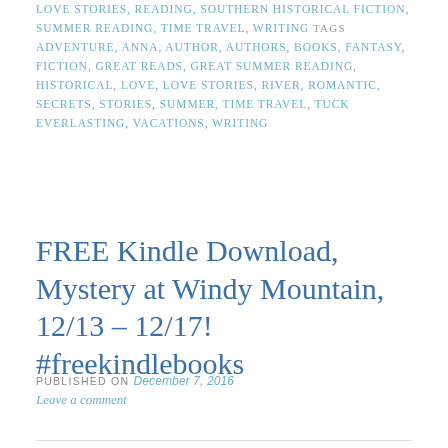LOVE STORIES, READING, SOUTHERN HISTORICAL FICTION, SUMMER READING, TIME TRAVEL, WRITING TAGS ADVENTURE, ANNA, AUTHOR, AUTHORS, BOOKS, FANTASY, FICTION, GREAT READS, GREAT SUMMER READING, HISTORICAL, LOVE, LOVE STORIES, RIVER, ROMANTIC, SECRETS, STORIES, SUMMER, TIME TRAVEL, TUCK EVERLASTING, VACATIONS, WRITING
FREE Kindle Download, Mystery at Windy Mountain, 12/13 – 12/17! #freekindlebooks
PUBLISHED ON December 7, 2016
Leave a comment